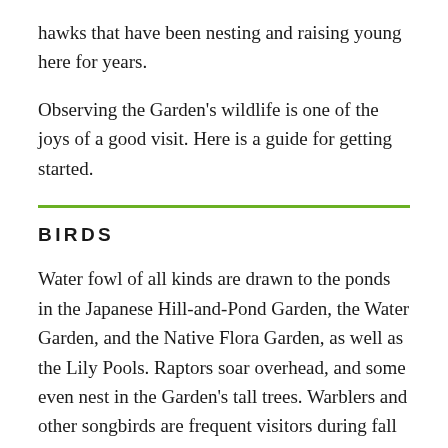hawks that have been nesting and raising young here for years.
Observing the Garden's wildlife is one of the joys of a good visit. Here is a guide for getting started.
BIRDS
Water fowl of all kinds are drawn to the ponds in the Japanese Hill-and-Pond Garden, the Water Garden, and the Native Flora Garden, as well as the Lily Pools. Raptors soar overhead, and some even nest in the Garden's tall trees. Warblers and other songbirds are frequent visitors during fall and spring migration, and familiar resident birds like cardinals, robins, and sparrows can be seen all year.